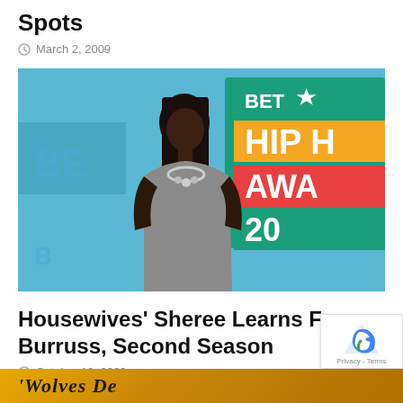Spots
March 2, 2009
[Figure (photo): A woman standing at what appears to be the BET Hip Hop Awards, wearing a grey dress and silver necklace, with the BET Hip Hop Awards signage visible behind her.]
Housewives' Sheree Learns From Burruss, Second Season
October 19, 2009
[Figure (photo): Bottom banner with golden/yellow background showing partial text in stylized font]